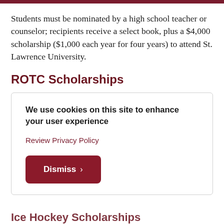Students must be nominated by a high school teacher or counselor; recipients receive a select book, plus a $4,000 scholarship ($1,000 each year for four years) to attend St. Lawrence University.
ROTC Scholarships
We use cookies on this site to enhance your user experience
Review Privacy Policy
Dismiss ›
Ice Hockey Scholarships